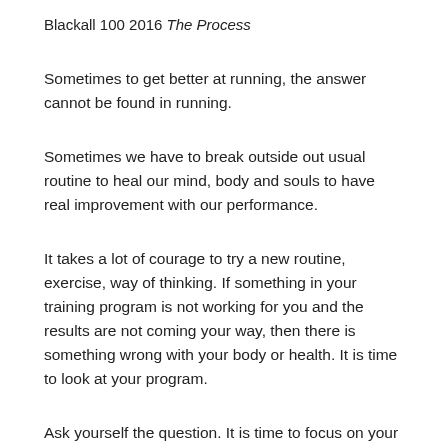Blackall 100 2016 The Process
Sometimes to get better at running, the answer cannot be found in running.
Sometimes we have to break outside out usual routine to heal our mind, body and souls to have real improvement with our performance.
It takes a lot of courage to try a new routine, exercise, way of thinking. If something in your training program is not working for you and the results are not coming your way, then there is something wrong with your body or health. It is time to look at your program.
Ask yourself the question. It is time to focus on your recovery?
I went off the asthma drugs at the start of 2016. No preventive. Just